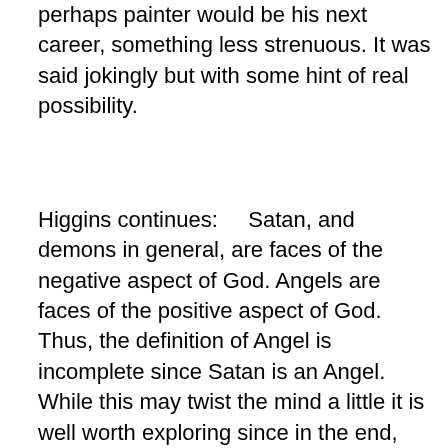perhaps painter would be his next career, something less strenuous. It was said jokingly but with some hint of real possibility.
Higgins continues:     Satan, and demons in general, are faces of the negative aspect of God. Angels are faces of the positive aspect of God. Thus, the definition of Angel is incomplete since Satan is an Angel. While this may twist the mind a little it is well worth exploring since in the end, there exists neither good nor evil, only that which is often called God. God (Allah, Prime Source, Great Creator) is an energetic power, a balanced magnetic force which either repels (negative-think demon) or attracts (positive-think Angel).
Depending on the individual human's ability to focus on positive, and thus be the attractive side of a magnet, the